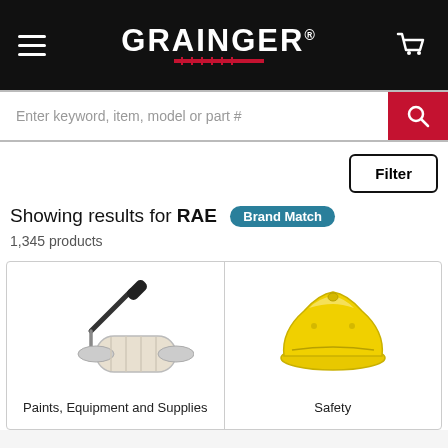GRAINGER
Enter keyword, item, model or part #
Filter
Showing results for RAE  Brand Match
1,345 products
[Figure (illustration): Paint roller illustration representing Paints, Equipment and Supplies category]
Paints, Equipment and Supplies
[Figure (illustration): Yellow hard hat illustration representing Safety category]
Safety